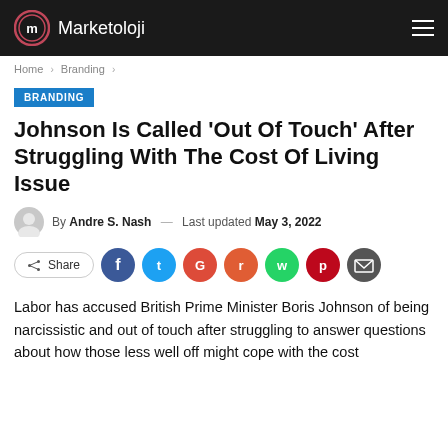Marketoloji
Home > Branding >
BRANDING
Johnson Is Called ‘Out Of Touch’ After Struggling With The Cost Of Living Issue
By Andre S. Nash — Last updated May 3, 2022
Share
Labor has accused British Prime Minister Boris Johnson of being narcissistic and out of touch after struggling to answer questions about how those less well off might cope with the cost